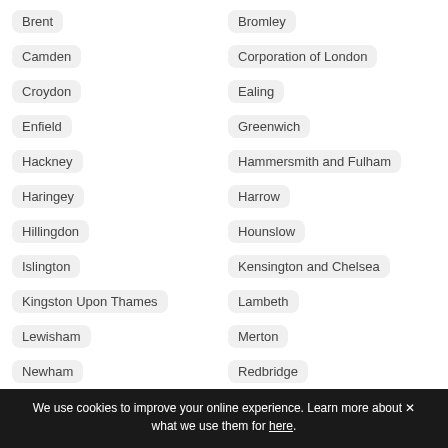Brent
Bromley
Camden
Corporation of London
Croydon
Ealing
Enfield
Greenwich
Hackney
Hammersmith and Fulham
Haringey
Harrow
Hillingdon
Hounslow
Islington
Kensington and Chelsea
Kingston Upon Thames
Lambeth
Lewisham
Merton
Newham
Redbridge
Southwark
Staines
We use cookies to improve your online experience. Learn more about what we use them for here.